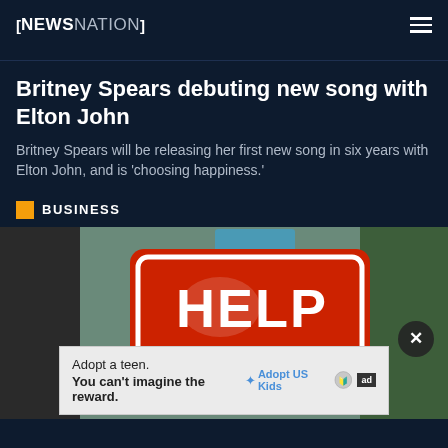NEWSNATION
Britney Spears debuting new song with Elton John
Britney Spears will be releasing her first new song in six years with Elton John, and is 'choosing happiness.'
BUSINESS
[Figure (photo): A red Help Wanted sign displayed in a storefront window with green foliage in the background]
Adopt a teen. You can't imagine the reward. Adopt US Kids ad